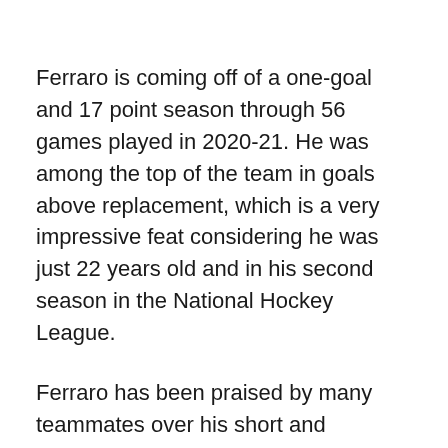Ferraro is coming off of a one-goal and 17 point season through 56 games played in 2020-21. He was among the top of the team in goals above replacement, which is a very impressive feat considering he was just 22 years old and in his second season in the National Hockey League.
Ferraro has been praised by many teammates over his short and impressive NHL career. I got the opportunity to interview Kurtis Gabriel, former Sharks forward, who had this to say about Ferraro: “I can’t tell you how much respect I have for that guy. Every single team needs a guy like that, and there are not many of them. He’s a very special person. Should be the future